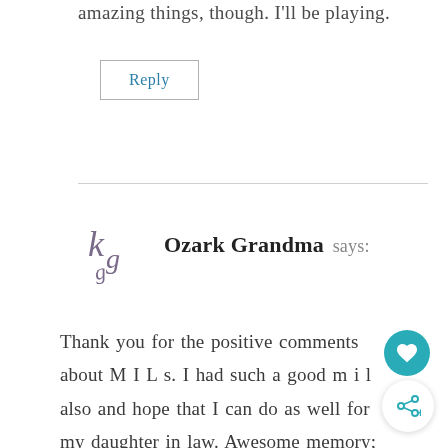amazing things, though. I'll be playing.
Reply
Ozark Grandma says:
Thank you for the positive comments about M I L s. I had such a good m i l also and hope that I can do as well for my daughter in law. Awesome memory; soon after we were married, my m i l introduced me to someone as her